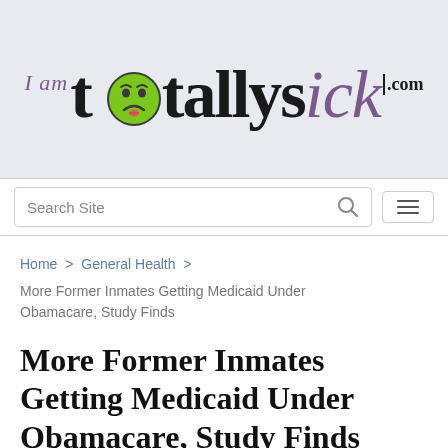[Figure (logo): iamtotallysick.com website logo with green sick-face emoji replacing the letter 'o' in 'totally', on a light blue-gray background]
Search Site
Home > General Health > More Former Inmates Getting Medicaid Under Obamacare, Study Finds
More Former Inmates Getting Medicaid Under Obamacare, Study Finds